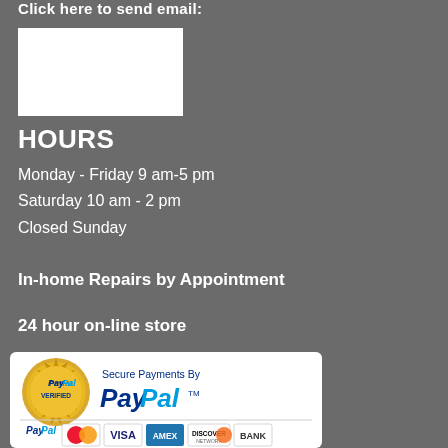Click here to send email:
[Figure (other): White rectangle placeholder (likely a map or image widget)]
HOURS
Monday - Friday 9 am-5 pm
Saturday 10 am - 2 pm
Closed Sunday
In-home Repairs by Appointment
24 hour on-line store
[Figure (logo): PayPal Verified seal with 'Secure Payments By PayPal' and payment card logos (MasterCard, Visa, AMEX, Discover, Bank)]